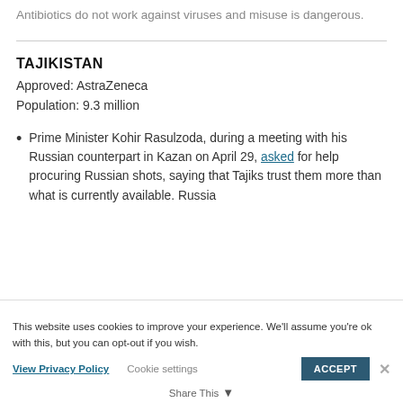Antibiotics do not work against viruses and misuse is dangerous.
TAJIKISTAN
Approved: AstraZeneca
Population: 9.3 million
Prime Minister Kohir Rasulzoda, during a meeting with his Russian counterpart in Kazan on April 29, asked for help procuring Russian shots, saying that Tajiks trust them more than what is currently available. Russia
This website uses cookies to improve your experience. We'll assume you're ok with this, but you can opt-out if you wish.
View Privacy Policy   Cookie settings   ACCEPT   Share This